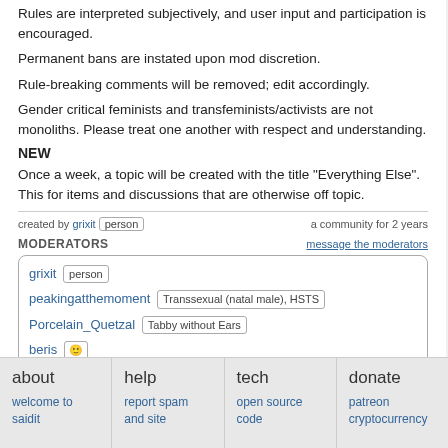Rules are interpreted subjectively, and user input and participation is encouraged.
Permanent bans are instated upon mod discretion.
Rule-breaking comments will be removed; edit accordingly.
Gender critical feminists and transfeminists/activists are not monoliths. Please treat one another with respect and understanding.
NEW
Once a week, a topic will be created with the title "Everything Else". This for items and discussions that are otherwise off topic.
created by grixit  person    a community for 2 years
MODERATORS
grixit  person
peakingatthemoment  Transsexual (natal male), HSTS
Porcelain_Quetzal  Tabby without Ears
beris  :)
moderation team • moderation log
about  help  tech  donate
welcome to saidit  report spam and site  open source code  patreon cryptocurrency